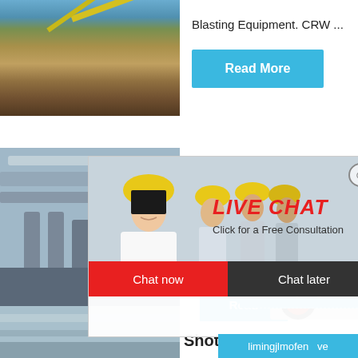[Figure (photo): Mining site with yellow crane/excavator equipment and conveyor belts]
Blasting Equipment. CRW ...
Read More
[Figure (photo): Industrial facility with large pipes and metal ductwork]
[Figure (screenshot): Live chat popup overlay with workers in yellow hard hats. Title: LIVE CHAT. Subtitle: Click for a Free Consultation. Buttons: Chat now, Chat later.]
hour online
[Figure (photo): Crusher machine equipment]
Read
Click me to chat>>
Enquiry
[Figure (photo): Industrial facility bottom]
Shot Pe
limingjlmofen